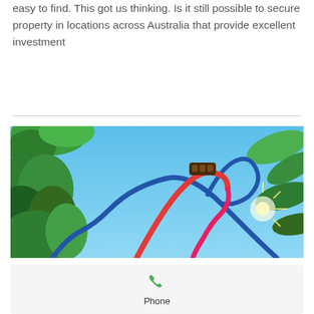easy to find. This got us thinking. Is it still possible to secure property in locations across Australia that provide excellent investment
[Figure (photo): A roller coaster with red and blue tracks photographed from below against a bright blue sky, with tropical green trees and palm fronds visible on the sides.]
[Figure (infographic): A contact card section with a green phone icon and the label 'Phone' below it on a light grey background.]